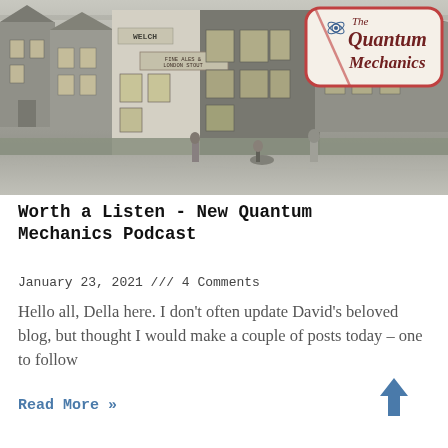[Figure (photo): Black and white historical photograph of a street corner with old brick buildings including a pub. A logo overlay in the top right reads 'The Quantum Mechanics' with an atom icon, in a rounded rectangle frame with red border and diagonal slash.]
Worth a Listen - New Quantum Mechanics Podcast
January 23, 2021 /// 4 Comments
Hello all, Della here. I don't often update David's beloved blog, but thought I would make a couple of posts today – one to follow
Read More »